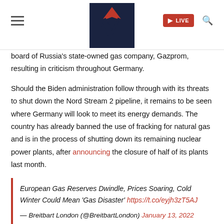Mediaite header with logo, hamburger menu, LIVE button, and search icon
board of Russia's state-owned gas company, Gazprom, resulting in criticism throughout Germany.
Should the Biden administration follow through with its threats to shut down the Nord Stream 2 pipeline, it remains to be seen where Germany will look to meet its energy demands. The country has already banned the use of fracking for natural gas and is in the process of shutting down its remaining nuclear power plants, after announcing the closure of half of its plants last month.
European Gas Reserves Dwindle, Prices Soaring, Cold Winter Could Mean 'Gas Disaster' https://t.co/eyjh3zT5AJ
— Breitbart London (@BreitbartLondon) January 13, 2022